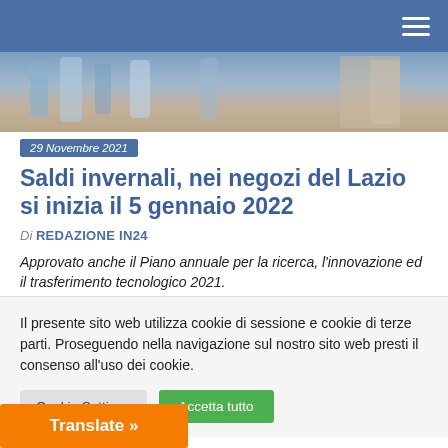[Figure (photo): Partial view of a clothing store with garments on hangers]
29 Novembre 2021
Saldi invernali, nei negozi del Lazio si inizia il 5 gennaio 2022
Di REDAZIONE IN24
Approvato anche il Piano annuale per la ricerca, l'innovazione ed il trasferimento tecnologico 2021.
Condividi:
Il presente sito web utilizza cookie di sessione e cookie di terze parti. Proseguendo nella navigazione sul nostro sito web presti il consenso all'uso dei cookie.
Cookie Settings  Accetta tutto
Translate »